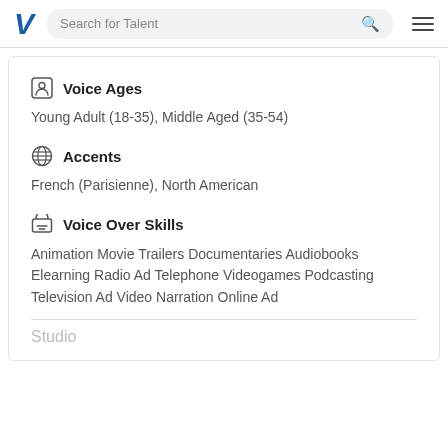Search for Talent
Voice Ages
Young Adult (18-35), Middle Aged (35-54)
Accents
French (Parisienne), North American
Voice Over Skills
Animation Movie Trailers Documentaries Audiobooks Elearning Radio Ad Telephone Videogames Podcasting Television Ad Video Narration Online Ad
Studio